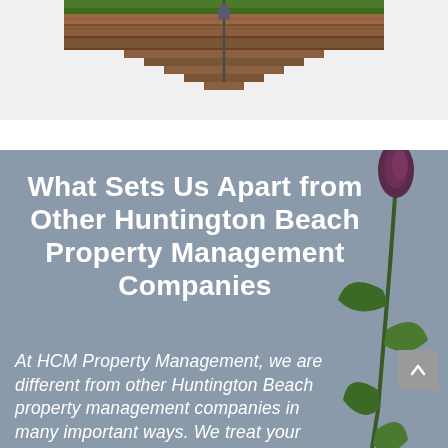[Figure (photo): Partial view of an outdoor scene with brick steps and a lamp post, with green grass at the top. Photo is cropped showing mostly the lower portion.]
What Sets Us Apart from Other Huntington Beach Property Management Companies
At HCM Property Management, we are different from other Huntington Beach property management companies in many important ways. We treat your